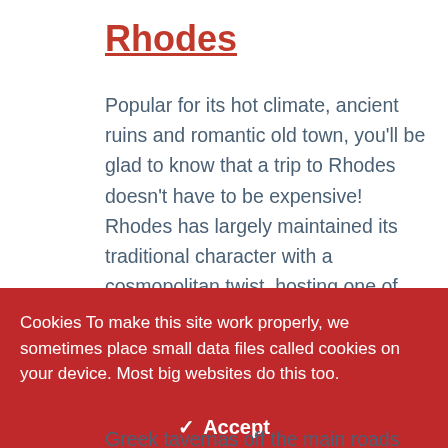Rhodes
Popular for its hot climate, ancient ruins and romantic old town, you'll be glad to know that a trip to Rhodes doesn't have to be expensive! Rhodes has largely maintained its traditional character with a cosmopolitan twist, hosting one of the finest medieval
Cookies To make this site work properly, we sometimes place small data files called cookies on your device. Most big websites do this too.
✔ Accept
Change Settings ⚙
Greek tavernas off the main roads